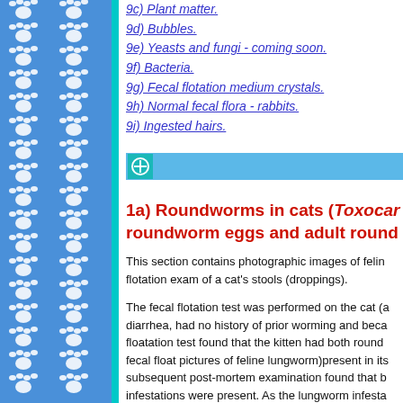9c) Plant matter.
9d) Bubbles.
9e) Yeasts and fungi - coming soon.
9f) Bacteria.
9g) Fecal flotation medium crystals.
9h) Normal fecal flora - rabbits.
9i) Ingested hairs.
1a) Roundworms in cats (Toxocara) - roundworm eggs and adult round
This section contains photographic images of feline flotation exam of a cat's stools (droppings).
The fecal flotation test was performed on the cat (a diarrhea, had no history of prior worming and beca floatation test found that the kitten had both round fecal float pictures of feline lungworm)present in its subsequent post-mortem examination found that b infestations were present. As the lungworm infesta